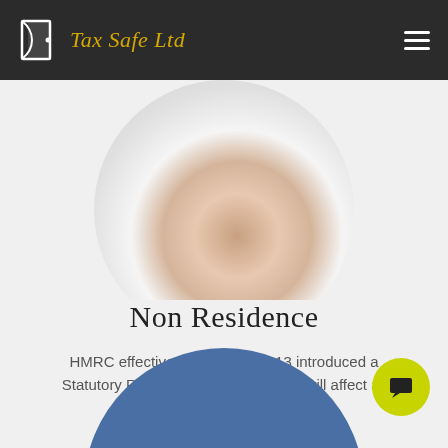Tax Safe Ltd
[Figure (photo): Circular cropped photo showing a hand holding a pen over a document, partially visible at top of page]
Non Residence
HMRC effective from 6 April 2013 introduced a Statutory Residence Test (SRT) that will affect all citizens working or living abroad. .
[Figure (other): Yellow-green rectangular button with text LEARN MORE]
[Figure (other): Blue semicircle partially visible at bottom of page]
[Figure (other): Yellow-green circular chat button with speech bubble icon at bottom right]